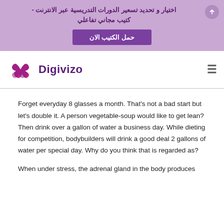اختيار و تحديد تسعير الدورات التدريسية عبر الانترنت - كتيب مجاني تفاعلي
حمل الكتيب الان
[Figure (logo): Digivizo logo with stylized flower/pinwheel icon in dark red/maroon and purple text]
Forget everyday 8 glasses a month. That's not a bad start but let's double it. A person vegetable-soup would like to get lean? Then drink over a gallon of water a business day. While dieting for competition, bodybuilders will drink a good deal 2 gallons of water per special day. Why do you think that is regarded as?
When under stress, the adrenal gland in the body produces